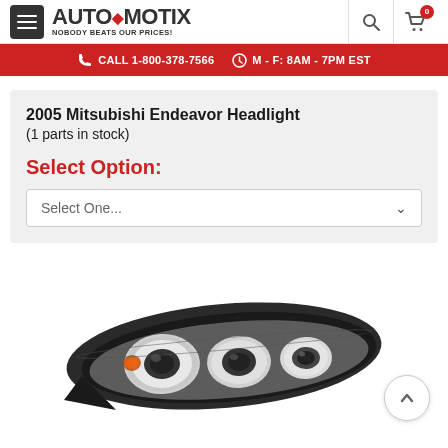AUTOmotix — NOBODY BEATS OUR PRICES!
CALL 1-800-378-7566  M - F: 8AM - 7PM EST
2005 Mitsubishi Endeavor Headlight (1 parts in stock)
Select Option:
Select One...
[Figure (photo): Photo of a 2005 Mitsubishi Endeavor headlight assembly, showing a black housing with three circular projector lenses, viewed from the front at slight angle.]